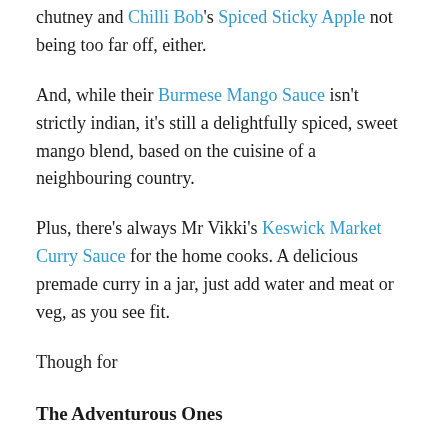chutney and Chilli Bob's Spiced Sticky Apple not being too far off, either.
And, while their Burmese Mango Sauce isn't strictly indian, it's still a delightfully spiced, sweet mango blend, based on the cuisine of a neighbouring country.
Plus, there's always Mr Vikki's Keswick Market Curry Sauce for the home cooks. A delicious premade curry in a jar, just add water and meat or veg, as you see fit.
Though for
The Adventurous Ones
There are also The Spice Sultan's Curry Kits, for a wider range of regional cuisines to explore.